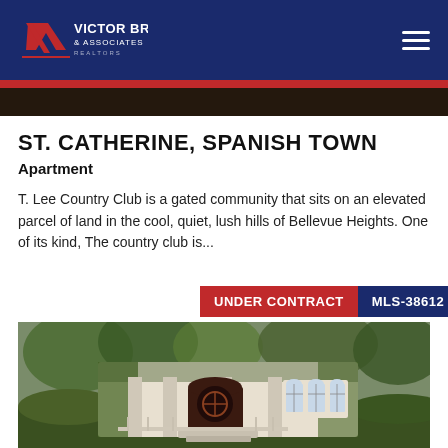Victor Brown & Associates Realtors
[Figure (photo): Dark property image strip at top of page]
ST. CATHERINE, SPANISH TOWN
Apartment
T. Lee Country Club is a gated community that sits on an elevated parcel of land in the cool, quiet, lush hills of Bellevue Heights. One of its kind, The country club is...
[Figure (photo): Ivy-covered villa/apartment building with white facade, arched windows, and lush green vegetation. Badges: UNDER CONTRACT | MLS-38612]